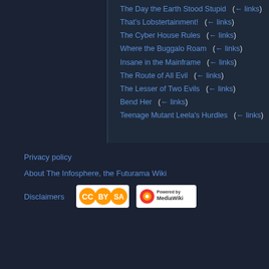The Day the Earth Stood Stupid  (← links)
That's Lobstertainment!  (← links)
The Cyber House Rules  (← links)
Where the Buggalo Roam  (← links)
Insane in the Mainframe  (← links)
The Route of All Evil  (← links)
The Lesser of Two Evils  (← links)
Bend Her  (← links)
Teenage Mutant Leela's Hurdles  (← links)
View (previous 50 | next 50) (20 | 50 | 100 | 250 | 500)
Privacy policy
About The Infosphere, the Futurama Wiki
Disclaimers